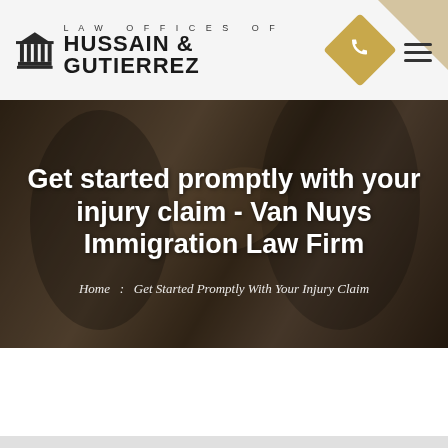LAW OFFICES OF HUSSAIN & GUTIERREZ
Get started promptly with your injury claim - Van Nuys Immigration Law Firm
Home : Get Started Promptly With Your Injury Claim
[Figure (screenshot): Bottom portion of a legal firm website showing partial content area]